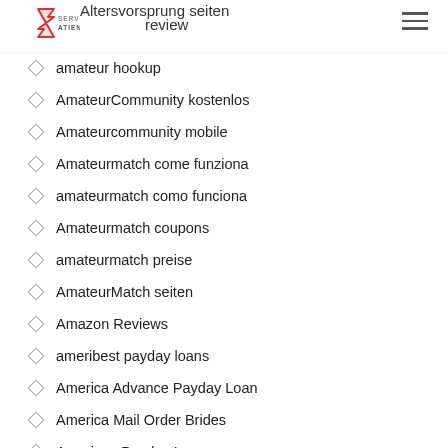Serviatiende – review
Altersvorsprung seiten
amateur hookup
AmateurCommunity kostenlos
Amateurcommunity mobile
Amateurmatch come funziona
amateurmatch como funciona
Amateurmatch coupons
amateurmatch preise
AmateurMatch seiten
Amazon Reviews
ameribest payday loans
America Advance Payday Loan
America Mail Order Brides
American Payday Loan
american payday loans
Amerikanische Dating-Seiten kostenlos
amino gratuit